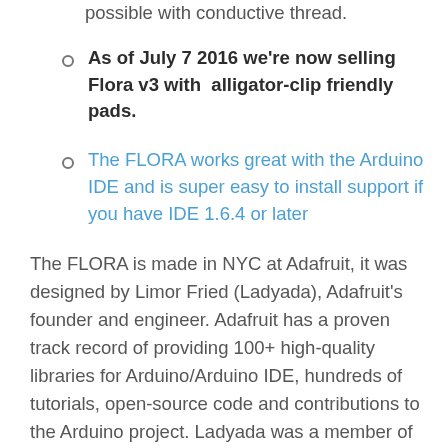possible with conductive thread.
As of July 7 2016 we're now selling Flora v3 with  alligator-clip friendly pads.
The FLORA works great with the Arduino IDE and is super easy to install support if you have IDE 1.6.4 or later
The FLORA is made in NYC at Adafruit, it was designed by Limor Fried (Ladyada), Adafruit's founder and engineer. Adafruit has a proven track record of providing 100+ high-quality libraries for Arduino/Arduino IDE, hundreds of tutorials, open-source code and contributions to the Arduino project. Ladyada was a member of the MIT wearables group and likes to sew.